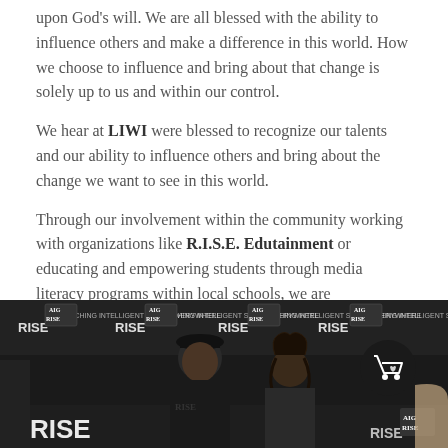upon God's will. We are all blessed with the ability to influence others and make a difference in this world. How we choose to influence and bring about that change is solely up to us and within our control.
We hear at LIWI were blessed to recognize our talents and our ability to influence others and bring about the change we want to see in this world.
Through our involvement within the community working with organizations like R.I.S.E. Edutainment or educating and empowering students through media literacy programs within local schools, we are contributing and doing our part to bring about that CHANGE.
[Figure (photo): Photo of people at a R.I.S.E. event with step-and-repeat banner backdrop showing RISE logos. Two people visible in foreground, dark background. Shopping cart icon badge visible in lower right.]